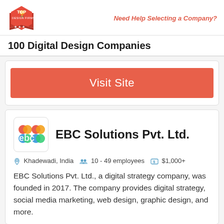Need Help Selecting a Company?
100 Digital Design Companies
[Figure (screenshot): Visit Site button — red/salmon colored rectangular button with white text]
[Figure (logo): EBC Solutions Pvt. Ltd. logo — colorful interlocking circles spelling 'ebc']
EBC Solutions Pvt. Ltd.
Khadewadi, India   10 - 49 employees   $1,000+
EBC Solutions Pvt. Ltd., a digital strategy company, was founded in 2017. The company provides digital strategy, social media marketing, web design, graphic design, and more.